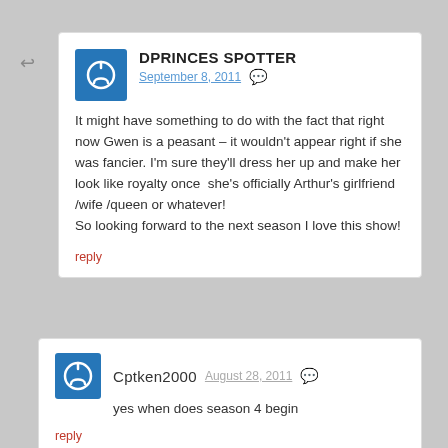↩
DPRINCES SPOTTER September 8, 2011
It might have something to do with the fact that right now Gwen is a peasant – it wouldn't appear right if she was fancier. I'm sure they'll dress her up and make her look like royalty once  she's officially Arthur's girlfriend /wife /queen or whatever!
So looking forward to the next season I love this show!
reply
Cptken2000 August 28, 2011
yes when does season 4 begin
reply